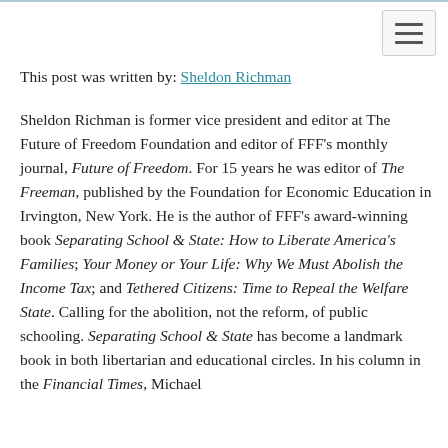This post was written by: Sheldon Richman
Sheldon Richman is former vice president and editor at The Future of Freedom Foundation and editor of FFF's monthly journal, Future of Freedom. For 15 years he was editor of The Freeman, published by the Foundation for Economic Education in Irvington, New York. He is the author of FFF's award-winning book Separating School & State: How to Liberate America's Families; Your Money or Your Life: Why We Must Abolish the Income Tax; and Tethered Citizens: Time to Repeal the Welfare State. Calling for the abolition, not the reform, of public schooling. Separating School & State has become a landmark book in both libertarian and educational circles. In his column in the Financial Times, Michael